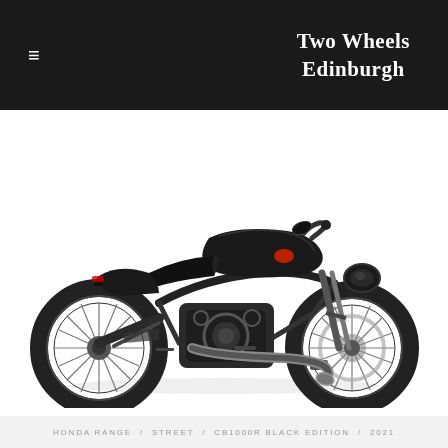Two Wheels Edinburgh
[Figure (photo): Side profile photo of a Honda CB1000R Black Edition 2021 motorcycle. The bike is entirely black with spoke wheels, low handlebar, single-sided exhaust, and a sleek minimalist street design. White background.]
HONDA RANGE / STREET / CB1000R BLACK EDITION / 2021